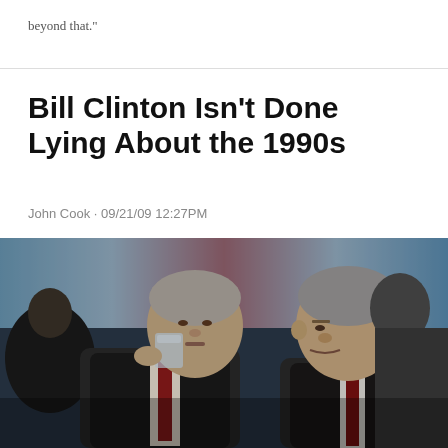beyond that."
Bill Clinton Isn't Done Lying About the 1990s
John Cook · 09/21/09 12:27PM
[Figure (photo): Black and white photograph of two men at a formal event. The man on the left is drinking from a glass, the man on the right (Bill Clinton) leans in. Red, white and blue decorative bunting is visible in the background.]